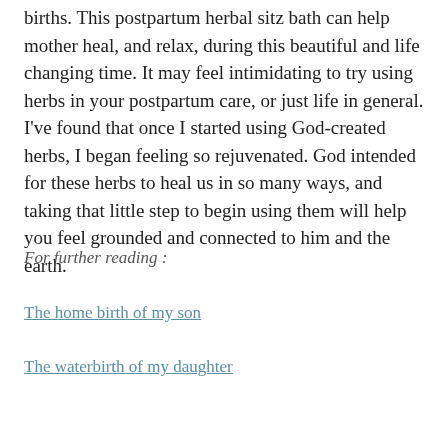births.  This postpartum herbal sitz bath can help mother heal, and relax, during this beautiful and life changing time.  It may feel intimidating to try using herbs in your postpartum care, or just life in general.  I've found that once I started using God-created herbs, I began feeling so rejuvenated.  God intended for these herbs to heal us in so many ways, and taking that little step to begin using them will help you feel grounded and connected to him and the earth.
For further reading :
The home birth of my son
The waterbirth of my daughter